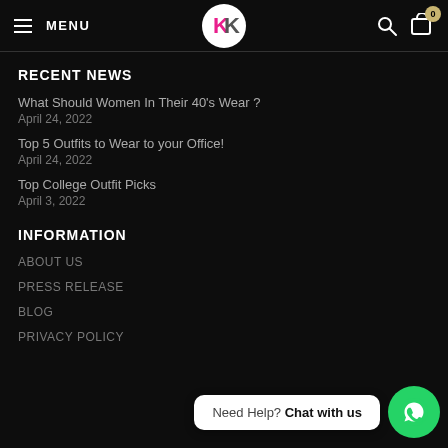MENU | KK Logo | Search | Cart (0)
RECENT NEWS
What Should Women In Their 40's Wear ?
April 24, 2022
Top 5 Outfits to Wear to your Office!
April 24, 2022
Top College Outfit Picks
April 3, 2022
INFORMATION
ABOUT US
PRESS RELEASE
BLOG
PRIVACY POLICY
[Figure (other): WhatsApp chat widget with 'Need Help? Chat with us' button and green WhatsApp icon]